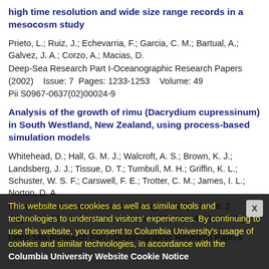high time resolution and wide size range records in a mesocosm study
Prieto, L.; Ruiz, J.; Echevarria, F.; Garcia, C. M.; Bartual, A.; Galvez, J. A.; Corzo, A.; Macias, D.
Deep-Sea Research Part I-Oceanographic Research Papers (2002)    Issue: 7  Pages: 1233-1253    Volume: 49
Pii S0967-0637(02)00024-9
Analysis of the growth of rimu (Dacrydium cupressinum) in South Westland, New Zealand, using process-based simulation models
Whitehead, D.; Hall, G. M. J.; Walcroft, A. S.; Brown, K. J.; Landsberg, J. J.; Tissue, D. T.; Turnbull, M. H.; Griffin, K. L.; Schuster, W. S. F.; Carswell, F. E.; Trotter, C. M.; James, I. L.; Norton, D. A.
International Journal of Biometeorology  (2002)    Issue: 2
Pages: 66-75    Volume: 46  DOI 10.1007/s00484-001-0122-y
This website uses cookies as well as similar tools and technologies to understand visitors' experiences. By continuing to use this website, you consent to Columbia University's usage of cookies and similar technologies, in accordance with the Columbia University Website Cookie Notice
Deep-Sea Research Part I-Oceanographic Research Papers